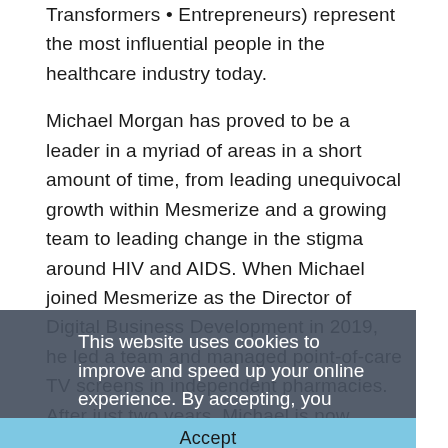Transformers • Entrepreneurs) represent the most influential people in the healthcare industry today.
Michael Morgan has proved to be a leader in a myriad of areas in a short amount of time, from leading unequivocal growth within Mesmerize and a growing team to leading change in the stigma around HIV and AIDS. When Michael joined Mesmerize as the Director of Digital Business Development in 2019, he led a team and managed point-of-care TV screens in independent pharmacies. After just two years, Michael is now leading a substantial team with and expanded the patient education network to include many screens in pharmacies, doctors' offices, community-based
This website uses cookies to improve and speed up your online experience. By accepting, you allow cookies to be set. Learn more
Accept